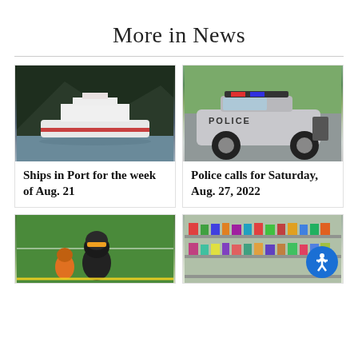More in News
[Figure (photo): A large cruise ship docked in a scenic fjord with dark forested mountains in the background]
Ships in Port for the week of Aug. 21
[Figure (photo): A silver police car parked on a street in a sunny suburban area]
Police calls for Saturday, Aug. 27, 2022
[Figure (photo): Football players on a green field, one in dark helmet in foreground]
[Figure (photo): Interior of a grocery store with shelves of products]